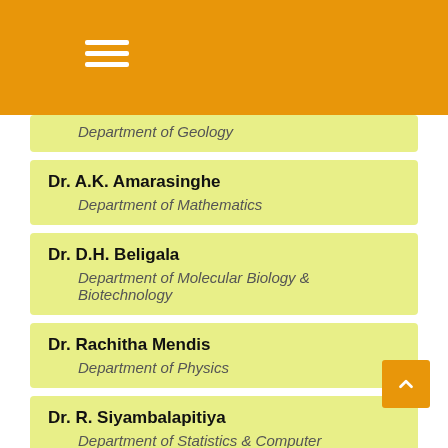Department of Geology
Dr. A.K. Amarasinghe
Department of Mathematics
Dr. D.H. Beligala
Department of Molecular Biology & Biotechnology
Dr. Rachitha Mendis
Department of Physics
Dr. R. Siyambalapitiya
Department of Statistics & Computer Science
Dr. N.R.S. Kumburagama